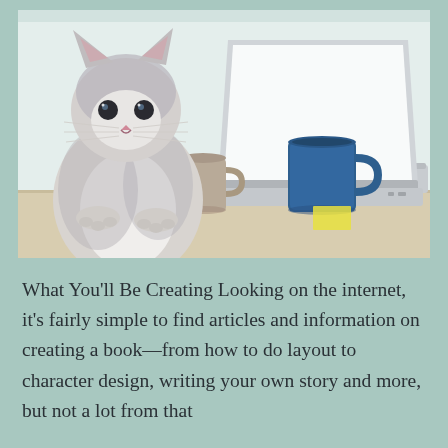[Figure (photo): A fluffy grey and white cat sitting on a desk next to an open laptop computer and a blue coffee mug, with a smaller beige/grey mug also visible. Light-colored wooden desk surface, bright window in background.]
What You'll Be Creating Looking on the internet, it's fairly simple to find articles and information on creating a book—from how to do layout to character design, writing your own story and more, but not a lot from that